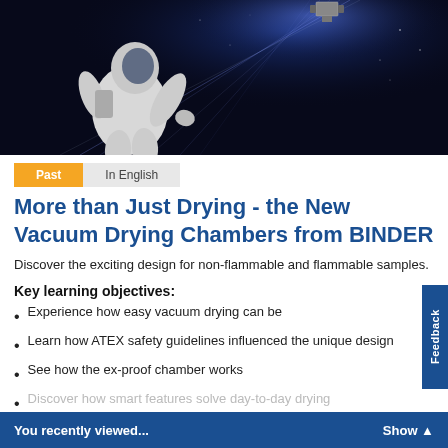[Figure (photo): Hero image showing an astronaut in space suit floating in space with blue light rays and a satellite/station visible in the background against a dark starry sky.]
Past   In English
More than Just Drying - the New Vacuum Drying Chambers from BINDER
Discover the exciting design for non-flammable and flammable samples.
Key learning objectives:
Experience how easy vacuum drying can be
Learn how ATEX safety guidelines influenced the unique design
See how the ex-proof chamber works
Discover how smart features solve day-to-day drying problems
You recently viewed...   Show